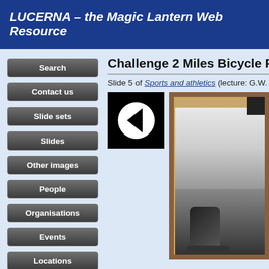LUCERNA – the Magic Lantern Web Resource
Challenge 2 Miles Bicycle Race
Slide 5 of Sports and athletics (lecture: G.W. Wilson, a
[Figure (screenshot): Navigation buttons: Search, Contact us, Slide sets, Slides, Other images, People, Organisations, Events, Locations]
[Figure (photo): A back/previous navigation arrow button (white left-pointing triangle on black background), and a partially visible magic lantern slide photograph showing a cyclist racing, in a brown wooden frame]